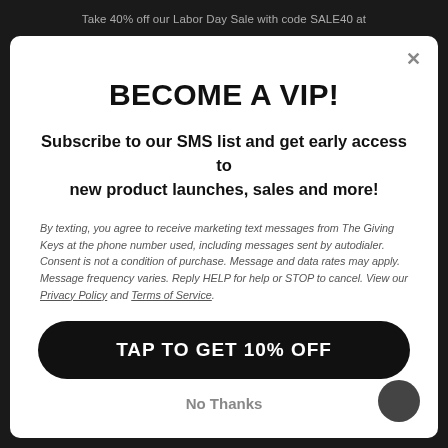Take 40% off our Labor Day Sale with code SALE40 at
BECOME A VIP!
Subscribe to our SMS list and get early access to new product launches, sales and more!
By texting, you agree to receive marketing text messages from The Giving Keys at the phone number used, including messages sent by autodialer. Consent is not a condition of purchase. Message and data rates may apply. Message frequency varies. Reply HELP for help or STOP to cancel. View our Privacy Policy and Terms of Service.
TAP TO GET 10% OFF
No Thanks